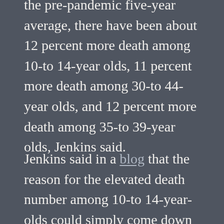the pre-pandemic five-year average, there have been about 12 percent more death among 10-to 14-year olds, 11 percent more death among 30-to 44-year olds, and 12 percent more death among 35-to 39-year olds, Jenkins said.
Jenkins said in a blog that the reason for the elevated death number among 10-to 14-year-olds could simply come down to a growth in the size of the cohort, although this hypothesis can not be confirmed unless the new population